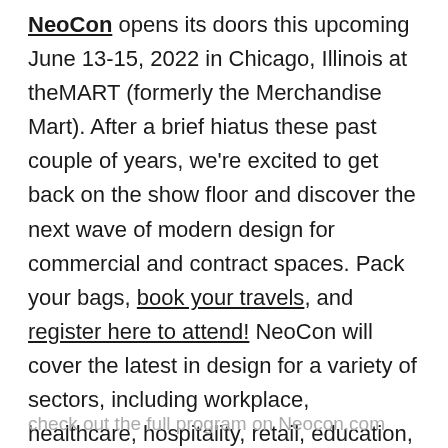NeoCon opens its doors this upcoming June 13-15, 2022 in Chicago, Illinois at theMART (formerly the Merchandise Mart). After a brief hiatus these past couple of years, we're excited to get back on the show floor and discover the next wave of modern design for commercial and contract spaces. Pack your bags, book your travels, and register here to attend! NeoCon will cover the latest in design for a variety of sectors, including workplace, healthcare, hospitality, retail, education, public space, and government. There's a lot to see, so be sure
check out the full program on Neocon.com